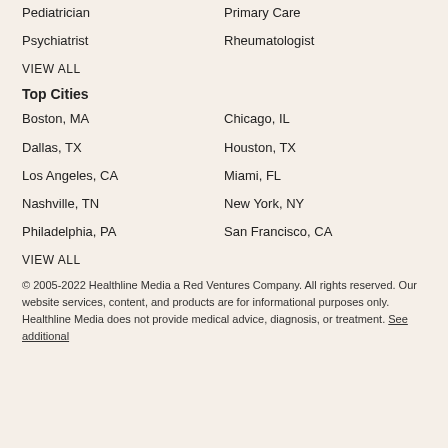Pediatrician
Primary Care
Psychiatrist
Rheumatologist
VIEW ALL
Top Cities
Boston, MA
Chicago, IL
Dallas, TX
Houston, TX
Los Angeles, CA
Miami, FL
Nashville, TN
New York, NY
Philadelphia, PA
San Francisco, CA
VIEW ALL
© 2005-2022 Healthline Media a Red Ventures Company. All rights reserved. Our website services, content, and products are for informational purposes only. Healthline Media does not provide medical advice, diagnosis, or treatment. See additional information.